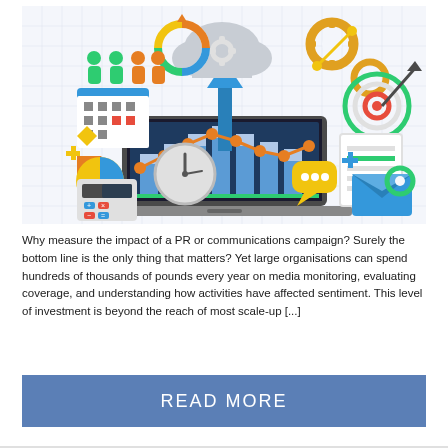[Figure (illustration): Flat design infographic illustration showing a laptop with a bar chart on screen, surrounded by icons: people/user icons, cloud computing icon, gear/cog icons, circular arrow chart, pie chart, clock, calculator, target/bullseye with arrow, document, email envelope, speech bubble, and a rising line graph with orange nodes, all in blue, orange, teal, yellow, and gray colors on a light grid background.]
Why measure the impact of a PR or communications campaign? Surely the bottom line is the only thing that matters? Yet large organisations can spend hundreds of thousands of pounds every year on media monitoring, evaluating coverage, and understanding how activities have affected sentiment. This level of investment is beyond the reach of most scale-up [...]
READ MORE